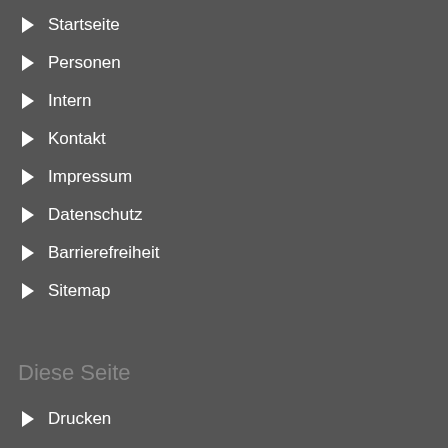Startseite
Personen
Intern
Kontakt
Impressum
Datenschutz
Barrierefreiheit
Sitemap
Diese Seite
Drucken
English